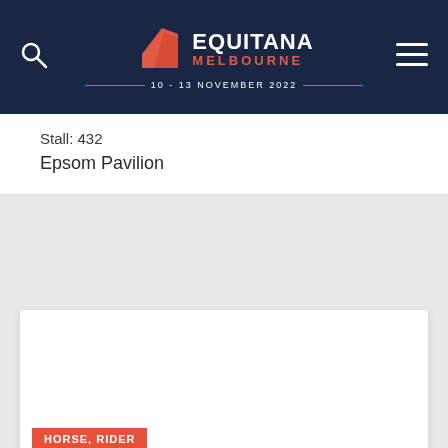Equitana Melbourne 10 - 13 November 2022
Stall: 432
Epsom Pavilion
[Figure (screenshot): White card area (empty image placeholder)]
HORSE, RIDER
MARSH CARNEY SADDLERY